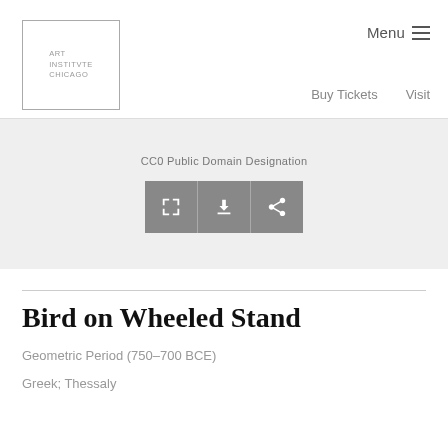ART INSTITVTE CHICAGO | Menu | Buy Tickets | Visit
CC0 Public Domain Designation
Bird on Wheeled Stand
Geometric Period (750–700 BCE)
Greek; Thessaly